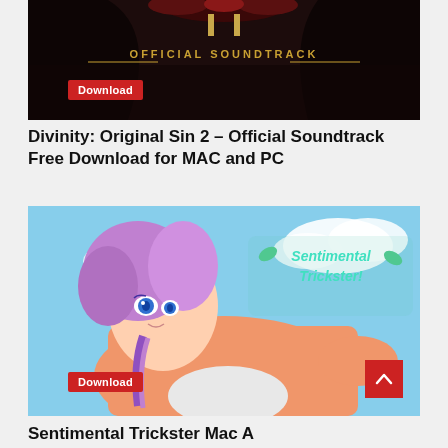[Figure (screenshot): Divinity Original Sin 2 Official Soundtrack cover image with dark fantasy art and gold text. Has a red Download button overlay.]
Divinity: Original Sin 2 – Official Soundtrack Free Download for MAC and PC
[Figure (screenshot): Sentimental Trickster game art showing an anime-style character with purple hair lying down against a blue sky background. Has a red Download button overlay and a scroll-to-top button.]
Sentimental Trickster Mac Alaaa Nlaaa Free